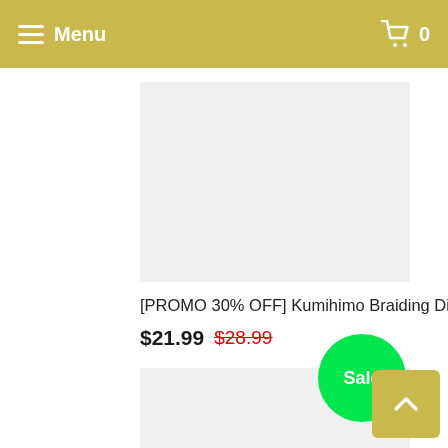Menu  0
[Figure (photo): Product image placeholder (light gray rectangle) for Kumihimo Braiding Disk, top view]
[PROMO 30% OFF] Kumihimo Braiding Disk
$21.99  $28.99
[Figure (photo): Product image placeholder (light gray rectangle) for Kumihimo Braiding Disk, bottom/detail view, with green Sale badge overlay]
Sale